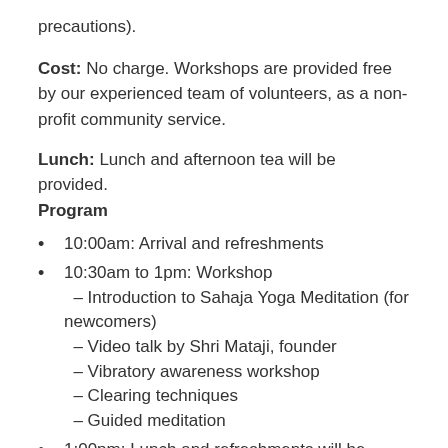precautions).
Cost: No charge. Workshops are provided free by our experienced team of volunteers, as a non-profit community service.
Lunch: Lunch and afternoon tea will be provided.
Program
10:00am: Arrival and refreshments
10:30am to 1pm: Workshop – Introduction to Sahaja Yoga Meditation (for newcomers) – Video talk by Shri Mataji, founder – Vibratory awareness workshop – Clearing techniques – Guided meditation
1:00pm: Lunch and refreshments will be provided.